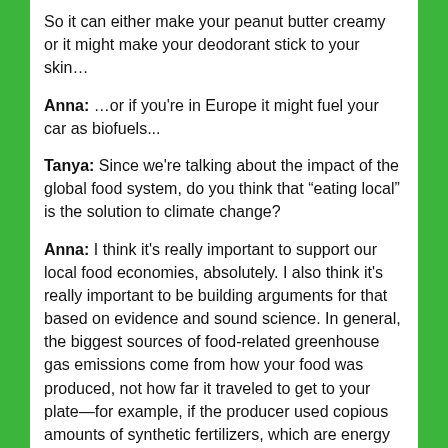So it can either make your peanut butter creamy or it might make your deodorant stick to your skin…
Anna: …or if you're in Europe it might fuel your car as biofuels...
Tanya: Since we're talking about the impact of the global food system, do you think that “eating local” is the solution to climate change?
Anna: I think it's really important to support our local food economies, absolutely. I also think it's really important to be building arguments for that based on evidence and sound science. In general, the biggest sources of food-related greenhouse gas emissions come from how your food was produced, not how far it traveled to get to your plate—for example, if the producer used copious amounts of synthetic fertilizers, which are energy intensive to produce and impact soil health. The percentage of emissions related to transport is actually a relatively small part of the greenhouse gas emissions of your typical food items. With that said, I'm a huge fan of supporting your local food